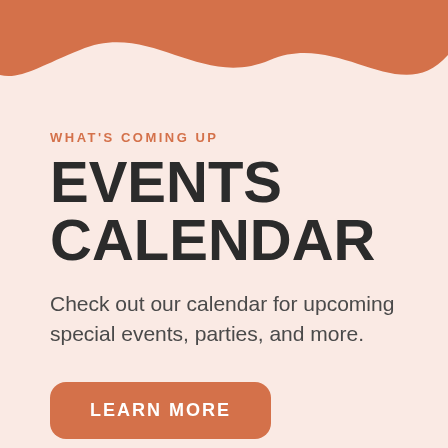[Figure (illustration): Decorative orange wavy shape at the top of the page]
WHAT'S COMING UP
EVENTS CALENDAR
Check out our calendar for upcoming special events, parties, and more.
LEARN MORE